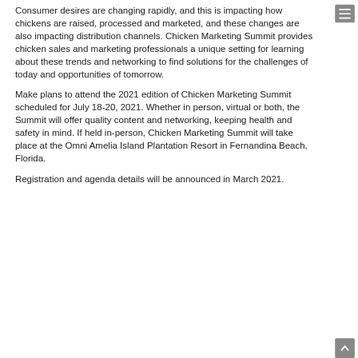Consumer desires are changing rapidly, and this is impacting how chickens are raised, processed and marketed, and these changes are also impacting distribution channels. Chicken Marketing Summit provides chicken sales and marketing professionals a unique setting for learning about these trends and networking to find solutions for the challenges of today and opportunities of tomorrow.
Make plans to attend the 2021 edition of Chicken Marketing Summit scheduled for July 18-20, 2021. Whether in person, virtual or both, the Summit will offer quality content and networking, keeping health and safety in mind. If held in-person, Chicken Marketing Summit will take place at the Omni Amelia Island Plantation Resort in Fernandina Beach, Florida.
Registration and agenda details will be announced in March 2021.